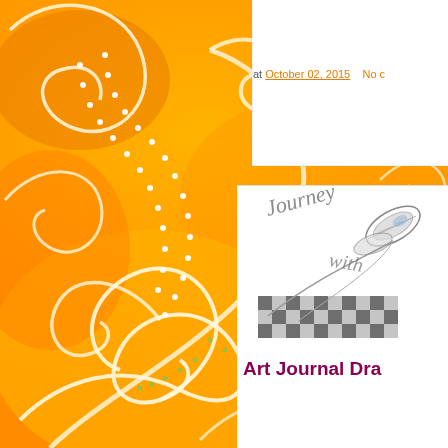[Figure (illustration): Orange and yellow swirling decorative background with spiral flourishes, white dotted patterns, and green dotted accents on the left half and top portion of the page]
at October 02, 2015    No c
Art Journal Dra
[Figure (illustration): Hand-drawn art journal page showing stylized text 'Journey within' with decorative leaves, feathers, and a checkered pattern at the bottom, rendered in pencil/graphite]